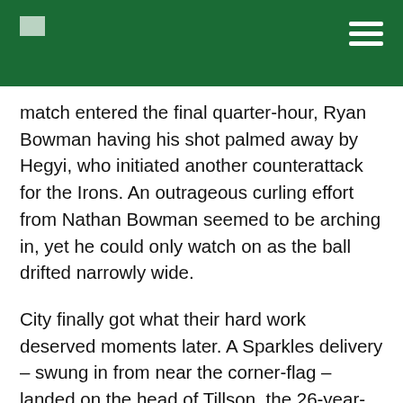[Logo] [Navigation menu]
match entered the final quarter-hour, Ryan Bowman having his shot palmed away by Hegyi, who initiated another counterattack for the Irons. An outrageous curling effort from Nathan Bowman seemed to be arching in, yet he could only watch on as the ball drifted narrowly wide.
City finally got what their hard work deserved moments later. A Sparkles delivery – swung in from near the corner-flag – landed on the head of Tillson, the 26-year-old nodding home to restore Exeter's lead.
Taylor saw his recruits put the game to bed in the dying embers of the match when a defensive mix-up left West Ham exposed. A wayward pass from the 'keeper was